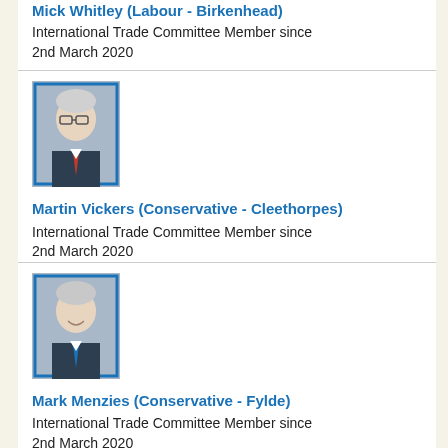Mick Whitley (Labour - Birkenhead)
International Trade Committee Member since 2nd March 2020
[Figure (photo): Portrait photo of Martin Vickers, older man with glasses and white hair in a suit]
Martin Vickers (Conservative - Cleethorpes)
International Trade Committee Member since 2nd March 2020
[Figure (photo): Portrait photo of Mark Menzies, middle-aged man in a suit smiling]
Mark Menzies (Conservative - Fylde)
International Trade Committee Member since 2nd March 2020
[Figure (photo): Portrait photo of Mark Hendrick, man of South Asian appearance in a suit smiling]
Mark Hendrick (Labour (Co-op) - Preston)
International Trade Committee Member since